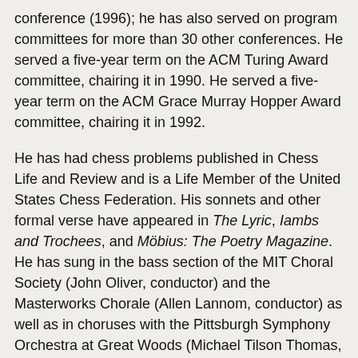conference (1996); he has also served on program committees for more than 30 other conferences. He served a five-year term on the ACM Turing Award committee, chairing it in 1990. He served a five-year term on the ACM Grace Murray Hopper Award committee, chairing it in 1992.
He has had chess problems published in Chess Life and Review and is a Life Member of the United States Chess Federation. His sonnets and other formal verse have appeared in The Lyric, Iambs and Trochees, and Möbius: The Poetry Magazine. He has sung in the bass section of the MIT Choral Society (John Oliver, conductor) and the Masterworks Chorale (Allen Lannom, conductor) as well as in choruses with the Pittsburgh Symphony Orchestra at Great Woods (Michael Tilson Thomas, conductor) and with the Boston Concert Opera (David Stockton, conductor). He has played the role of Lun Tha in "The King and I" and the title role in "Li'l Abner". He is a